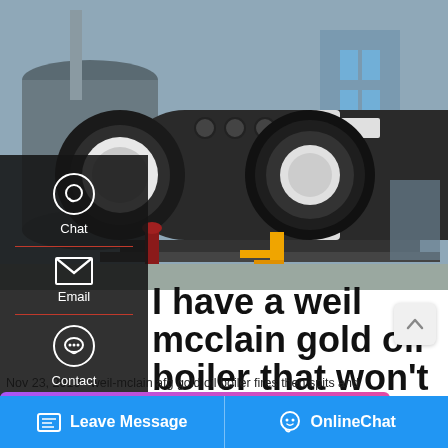[Figure (photo): Industrial oil boiler (Weil-McLain gold oil boiler style) on a factory floor, large cylindrical dark metal boiler with circular front flange, yellow gas piping components, industrial building in background]
Chat
Email
Contact
I have a weil mcclain gold oil boiler that won't fire. New
Nov 23, 2010 · weil-mclain afg gold oil boiler fires then spits and
ew nozzle and new filter pump was
s as if running out of fuel I have a Hot
Save Stickers on WhatsApp
Leave Message
OnlineChat